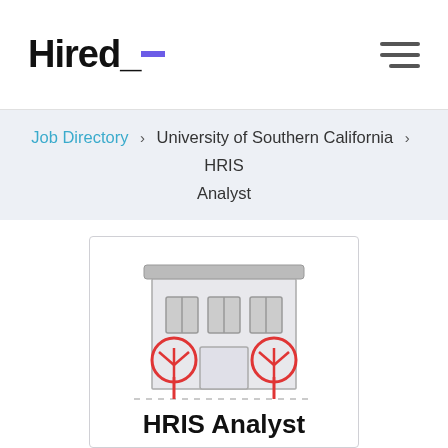Hired_
Job Directory > University of Southern California > HRIS Analyst
[Figure (illustration): Building/university office illustration with two red trees flanking a front door, gray windows on upper floor]
HRIS Analyst